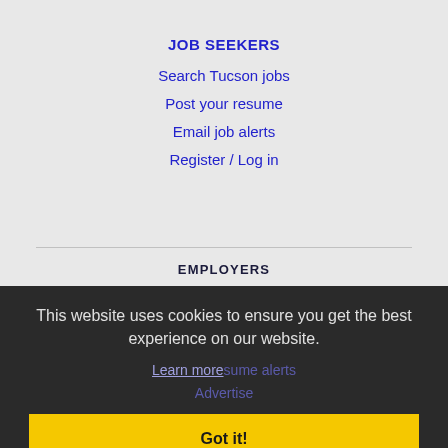JOB SEEKERS
Search Tucson jobs
Post your resume
Email job alerts
Register / Log in
EMPLOYERS
This website uses cookies to ensure you get the best experience on our website.
Learn more sume alerts
Advertise
Got it!
IMMIGRATION SPECIALISTS